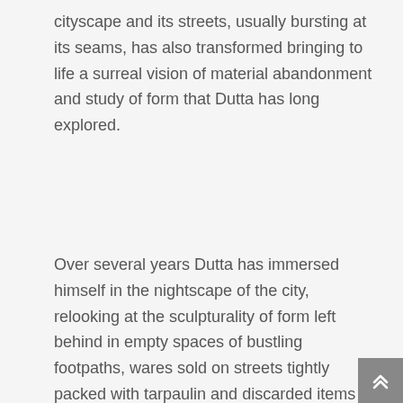cityscape and its streets, usually bursting at its seams, has also transformed bringing to life a surreal vision of material abandonment and study of form that Dutta has long explored.
Over several years Dutta has immersed himself in the nightscape of the city, relooking at the sculpturality of form left behind in empty spaces of bustling footpaths, wares sold on streets tightly packed with tarpaulin and discarded items of daily use – painting them in intricate, contemplative brush and ink works and sculpting them in a variety of mediums. Often, he sculpts trees and fallen branches in bronze in an extension of his exploration of form, but